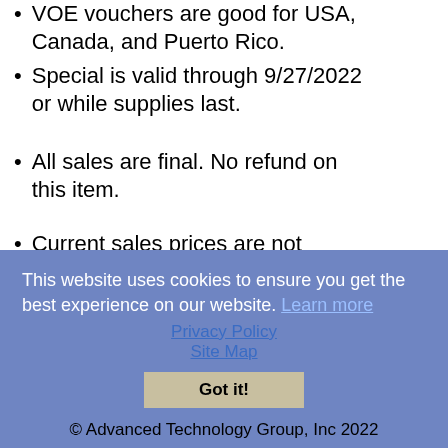VOE vouchers are good for USA, Canada, and Puerto Rico.
Special is valid through 9/27/2022 or while supplies last.
All sales are final. No refund on this item.
Current sales prices are not retroactive towards previous purchases.
Same day registration is possible with this voucher. You can register for your exam and take it on the same day that it expires.
This website uses cookies to ensure you get the best experience on our website. Learn more
Privacy Policy
Site Map
Got it!
© Advanced Technology Group, Inc 2022